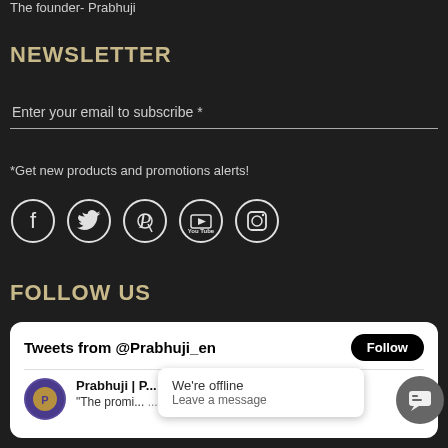The founder- Prabhuji
NEWSLETTER
Enter your email to subscribe *
*Get new products and promotions alerts!
[Figure (illustration): Social media icons: Facebook, Twitter, Pinterest, YouTube, Instagram in circle outlines on dark background]
FOLLOW US
[Figure (screenshot): Twitter widget showing 'Tweets from @Prabhuji_en' with a Follow button, Prabhuji avatar, tweet preview starting with 'The promi...' and '...othing'. An offline chat popup shows 'We're offline / Leave a message' and a chat bubble button.]